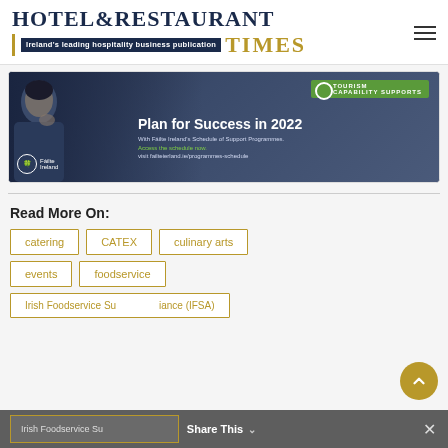HOTEL & RESTAURANT TIMES — Ireland's leading hospitality business publication
[Figure (photo): Fáilte Ireland advertisement banner: 'Plan for Success in 2022 With Fáilte Ireland's Schedule of Support Programmes. Access the schedule now. visit failteierland.ie/programmes-schedule' with Tourism Capability Supports badge]
Read More On:
catering
CATEX
culinary arts
events
foodservice
Irish Foodservice Suppliers Alliance (IFSA)
Share This